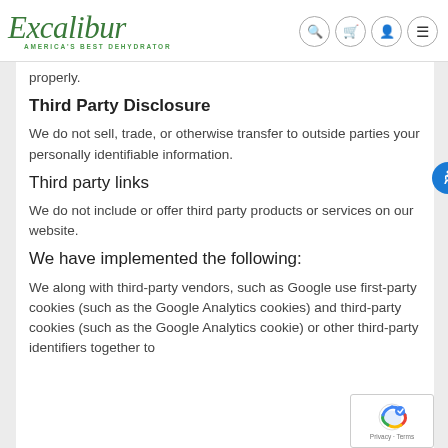[Figure (logo): Excalibur logo with cursive green text and tagline 'AMERICA'S BEST DEHYDRATOR']
[Figure (infographic): Navigation icons: search, cart, account, menu]
properly.
Third Party Disclosure
We do not sell, trade, or otherwise transfer to outside parties your personally identifiable information.
Third party links
We do not include or offer third party products or services on our website.
We have implemented the following:
We along with third-party vendors, such as Google use first-party cookies (such as the Google Analytics cookies) and third-party cookies (such as the Google Analytics cookie) or other third-party identifiers together to